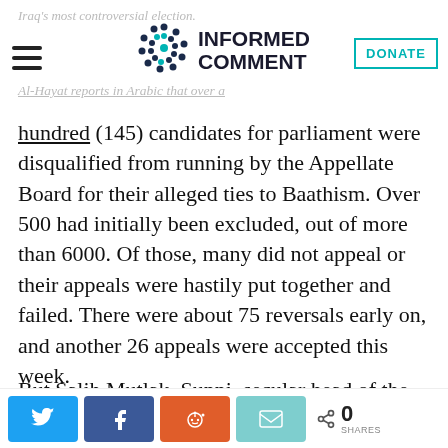INFORMED COMMENT
Iraq's most controversial election.
Al-Hayat reports in Arabic that over a hundred (145) candidates for parliament were disqualified from running by the Appellate Board for their alleged ties to Baathism. Over 500 had initially been excluded, out of more than 6000. Of those, many did not appeal or their appeals were hastily put together and failed. There were about 75 reversals early on, and another 26 appeals were accepted this week.
But Salih Mutlak, Sunni, secular head of the
Share buttons: Twitter, Facebook, Reddit, Email | 0 SHARES